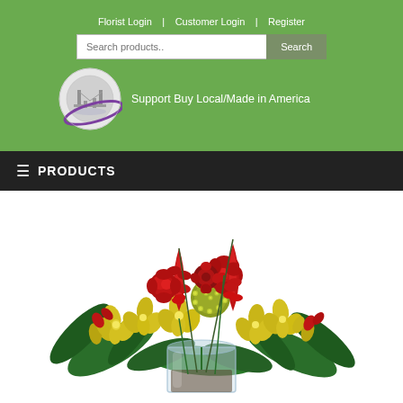Florist Login | Customer Login | Register
Search products..
[Figure (logo): City to City Flowers circular logo with bridge illustration and purple orbital ring]
Support Buy Local/Made in America
≡ PRODUCTS
[Figure (photo): Floral arrangement in a glass cube vase featuring yellow cymbidium orchids, red ginger flowers, red roses/ranunculus, yellow pincushion protea, and tropical green foliage]